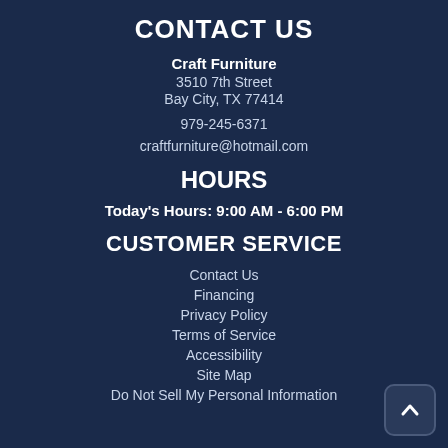CONTACT US
Craft Furniture
3510 7th Street
Bay City, TX 77414
979-245-6371
craftfurniture@hotmail.com
HOURS
Today's Hours: 9:00 AM - 6:00 PM
CUSTOMER SERVICE
Contact Us
Financing
Privacy Policy
Terms of Service
Accessibility
Site Map
Do Not Sell My Personal Information